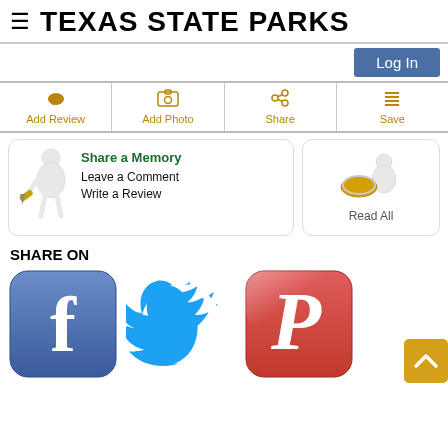TEXAS STATE PARKS
[Figure (screenshot): Log In button - blue rounded rectangle]
[Figure (infographic): Navigation bar with Add Review, Add Photo, Share, Save icons in amber/gold color]
[Figure (infographic): Dropdown card showing Share a Memory, Leave a Comment, Write a Review options with writing figure, and Read All card with magnifying glass figure]
SHARE ON
[Figure (infographic): Social media sharing icons: Facebook (blue rounded square with f), Twitter (blue bird), Pinterest (red rounded square with P)]